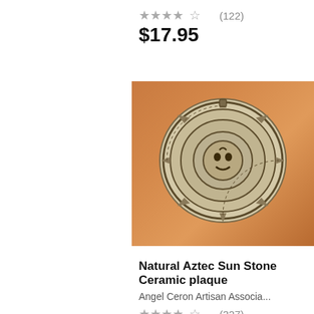★★★★☆ (122)
$17.95
[Figure (photo): Aztec Sun Stone ceramic plaque — circular stone-colored disc with intricate Aztec calendar carved relief, displayed on a wooden surface with warm orange background]
Natural Aztec Sun Stone Ceramic plaque
Angel Ceron Artisan Associa...
★★★★☆ (327)